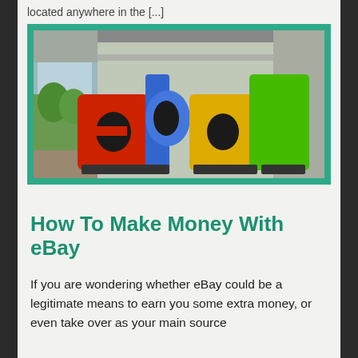located anywhere in the [...]
[Figure (photo): Large 3D eBay logo letters (e in red, b in blue, a in yellow, y in green) displayed in what appears to be a convention center or office corridor with glass walls and palm trees visible in the background. People walking in the background.]
How To Make Money With eBay
If you are wondering whether eBay could be a legitimate means to earn you some extra money, or even take over as your main source